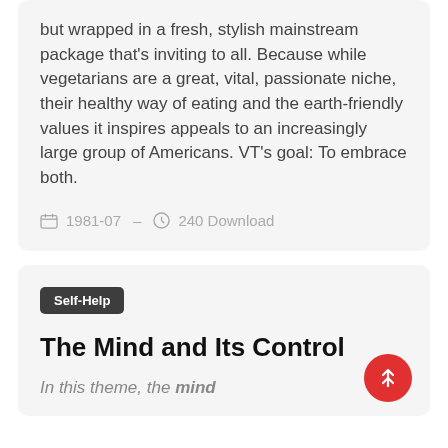but wrapped in a fresh, stylish mainstream package that's inviting to all. Because while vegetarians are a great, vital, passionate niche, their healthy way of eating and the earth-friendly values it inspires appeals to an increasingly large group of Americans. VT's goal: To embrace both.
1981-07  —  240 Download
Self-Help
The Mind and Its Control
In this theme, the mind